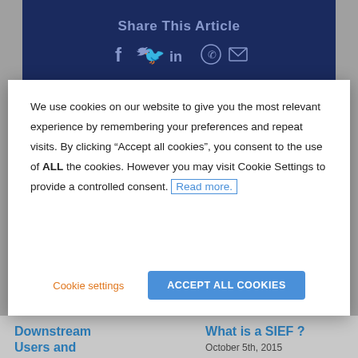Share This Article
[Figure (infographic): Social media share icons: Facebook, Twitter, LinkedIn, WhatsApp, Email]
We use cookies on our website to give you the most relevant experience by remembering your preferences and repeat visits. By clicking “Accept all cookies”, you consent to the use of ALL the cookies. However you may visit Cookie Settings to provide a controlled consent. Read more.
Cookie settings
ACCEPT ALL COOKIES
Downstream Users and Authorisation
What is a SIEF ?
October 5th, 2015